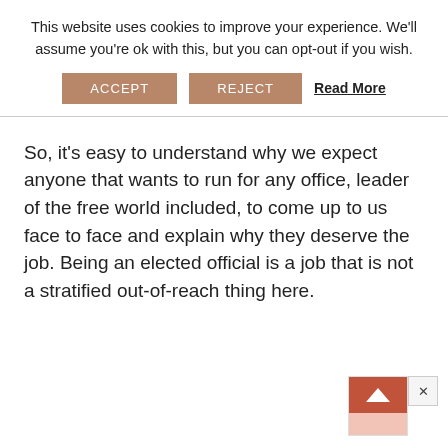This website uses cookies to improve your experience. We'll assume you're ok with this, but you can opt-out if you wish.
ACCEPT   REJECT   Read More
So, it's easy to understand why we expect anyone that wants to run for any office, leader of the free world included, to come up to us face to face and explain why they deserve the job. Being an elected official is a job that is not a stratified out-of-reach thing here.